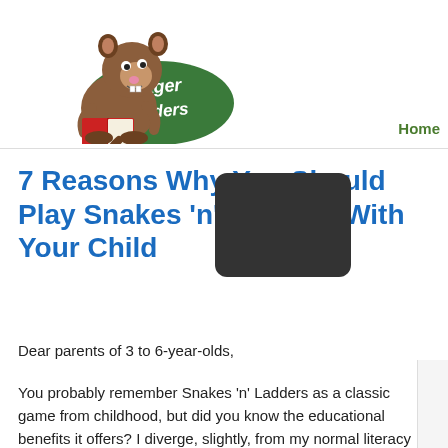[Figure (logo): Eager Readers logo — cartoon beaver reading a book with a green oval background and white handwritten text 'Eager Readers']
Home
7 Reasons Why You Should Play Snakes 'n' Ladders With Your Child
Dear parents of 3 to 6-year-olds,
You probably remember Snakes 'n' Ladders as a classic game from childhood, but did you know the educational benefits it offers? I diverge, slightly, from my normal literacy posts to share these insights with you! Playing this simple game will